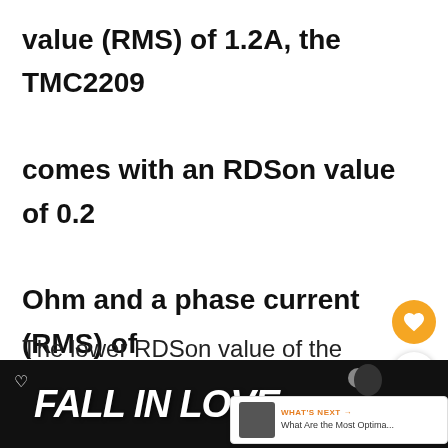value (RMS) of 1.2A, the TMC2209 comes with an RDSon value of 0.2 Ohm and a phase current (RMS) of 1.7A.
The lower RDSon value of the TMC2209 makes it more energy efficient (less power lost across the MOSFET) than the
[Figure (other): Orange circular heart/favorite button and white circular share button overlaid on the content]
[Figure (other): What's Next banner showing a thumbnail and text: WHAT'S NEXT → What Are the Most Optima...]
[Figure (other): Bottom advertisement bar with dark background reading FALL IN LOVE in large white italic bold text, with a person wearing headphones visible on the right side]